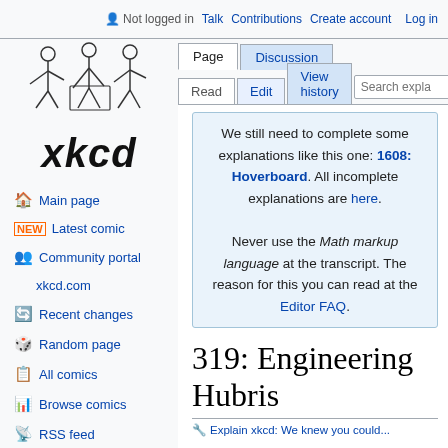Not logged in  Talk  Contributions  Create account  Log in
Page  Discussion  Read  Edit  View history  Search expla
[Figure (logo): Explain xkcd logo with stick figures]
Main page
Latest comic
Community portal
xkcd.com
Recent changes
Random page
All comics
Browse comics
RSS feed
We still need to complete some explanations like this one: 1608: Hoverboard. All incomplete explanations are here.

Never use the Math markup language at the transcript. The reason for this you can read at the Editor FAQ.
319: Engineering Hubris
Explain xkcd: We knew you could...